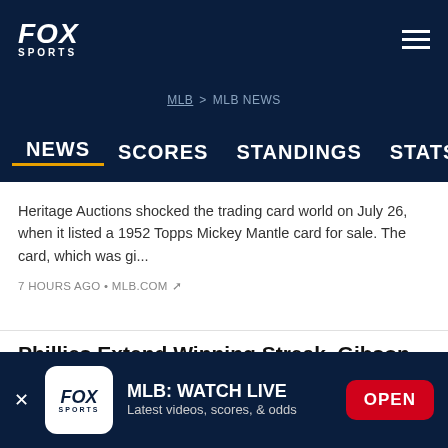FOX SPORTS
MLB > MLB NEWS
NEWS  SCORES  STANDINGS  STATS  VIDEOS
Heritage Auctions shocked the trading card world on July 26, when it listed a 1952 Topps Mickey Mantle card for sale. The card, which was gi...
7 HOURS AGO • MLB.COM
Phillies Extend Winning Streak, Gibson Shines in Shutout
MLB: WATCH LIVE
Latest videos, scores, & odds